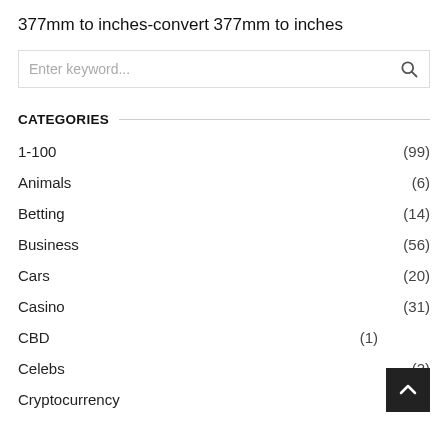377mm to inches-convert 377mm to inches
1-100 (99)
Animals (6)
Betting (14)
Business (56)
Cars (20)
Casino (31)
CBD (1)
Celebs (2)
Cryptocurrency (4)